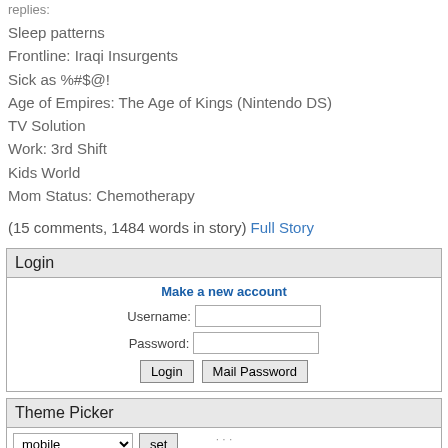replies:
Sleep patterns
Frontline: Iraqi Insurgents
Sick as %#$@!
Age of Empires: The Age of Kings (Nintendo DS)
TV Solution
Work: 3rd Shift
Kids World
Mom Status: Chemotherapy
(15 comments, 1484 words in story) Full Story
Login
Make a new account
Username:
Password:
Theme Picker
mobile  set